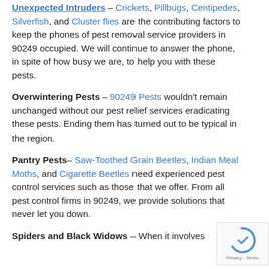Unexpected Intruders – Crickets, Pillbugs, Centipedes, Silverfish, and Cluster flies are the contributing factors to keep the phones of pest removal service providers in 90249 occupied. We will continue to answer the phone, in spite of how busy we are, to help you with these pests.
Overwintering Pests – 90249 Pests wouldn't remain unchanged without our pest relief services eradicating these pests. Ending them has turned out to be typical in the region.
Pantry Pests– Saw-Toothed Grain Beetles, Indian Meal Moths, and Cigarette Beetles need experienced pest control services such as those that we offer. From all pest control firms in 90249, we provide solutions that never let you down.
Spiders and Black Widows – When it involves